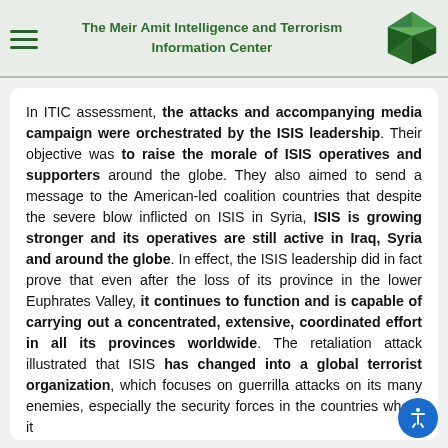The Meir Amit Intelligence and Terrorism Information Center
In ITIC assessment, the attacks and accompanying media campaign were orchestrated by the ISIS leadership. Their objective was to raise the morale of ISIS operatives and supporters around the globe. They also aimed to send a message to the American-led coalition countries that despite the severe blow inflicted on ISIS in Syria, ISIS is growing stronger and its operatives are still active in Iraq, Syria and around the globe. In effect, the ISIS leadership did in fact prove that even after the loss of its province in the lower Euphrates Valley, it continues to function and is capable of carrying out a concentrated, extensive, coordinated effort in all its provinces worldwide. The retaliation attack illustrated that ISIS has changed into a global terrorist organization, which focuses on guerrilla attacks on its many enemies, especially the security forces in the countries where it